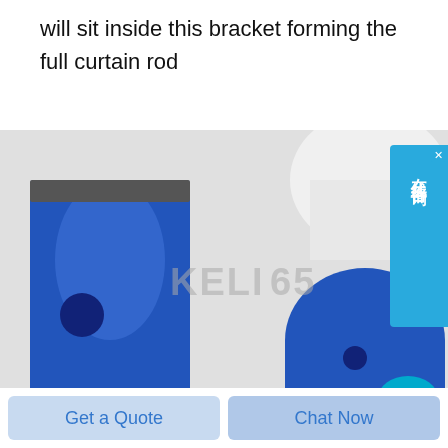will sit inside this bracket forming the full curtain rod
[Figure (photo): 3D rendered product photo showing two blue plastic bracket/rod components: a tall rectangular bracket piece on the left and a rounded dome-shaped end cap on the right, with a watermark reading KELI 65 in the center background. A partial white component is visible in the upper right.]
在线咨询
Get a Quote
Chat Now